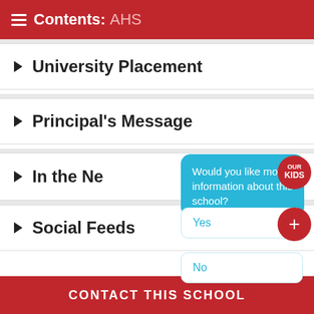Contents: AHS
University Placement
Principal's Message
In the Ne…
Would you like more information about this school?
Yes
No
Social Feeds
CONTACT THIS SCHOOL